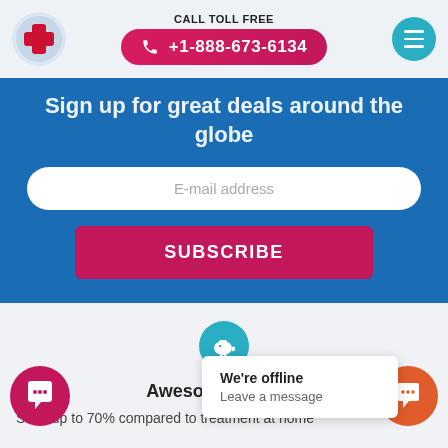CALL TOLL FREE +1-888-673-6134
Sign up for great deals around the globe
E-mail address
SUBSCRIBE
[Figure (illustration): Teal piggy bank icon in a circular teal button]
Awesome savings
Save up to 70% compared to treatment at home
We're offline
Leave a message